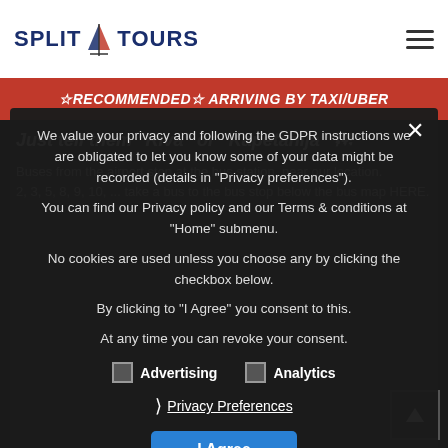SPLIT TOURS
☆RECOMMENDED☆ ARRIVING BY TAXI/UBER
Just tell them "Riva" or "Kapetanija" 🗺
Buses from the airport stop at the bus station, near our location.
2, 3, 5, 8, 9, 10, ... take a bus to the bus stop below the bus map HERE.
July and August are the most crowded months and we recommend you get clear instructions about available parking spaces.
Be informed OUR ADDRESS IS THE MAIN CITY PARKING LOT, literally right next to us.
But it is probably cheaper to use the one (approx 3-3.5 € per hour).
Find the cheaper ones...
We value your privacy and following the GDPR instructions we are obligated to let you know some of your data might be recorded (details in "Privacy preferences").
You can find our Privacy policy and our Terms & conditions at "Home" submenu.
No cookies are used unless you choose any by clicking the checkbox below.
By clicking to "I Agree" you consent to this.
At any time you can revoke your consent.
Advertising
Analytics
Privacy Preferences
I Agree